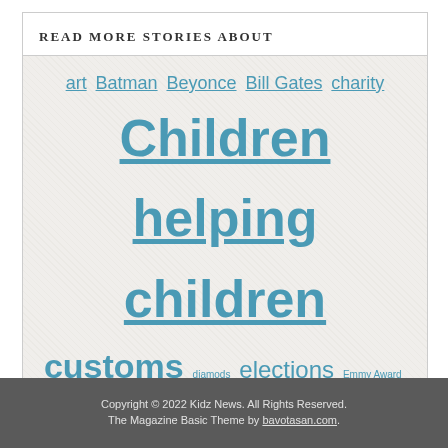READ MORE STORIES ABOUT
art Batman Beyonce Bill Gates charity Children helping children customs diamods elections Emmy Award football Google Grand Slam horse March martenitsa medal Meteor shower mine monkey NASA New Zealand NFL Obama Peru pink diamonds Pink Panther police President Sal Khan school secret agent Shakira soccer supercars technology Tennis The Bodygurd tribes trophy UEFA vote Whitney Houston World Record Zenvo
Copyright © 2022 Kidz News. All Rights Reserved. The Magazine Basic Theme by bavotasan.com.